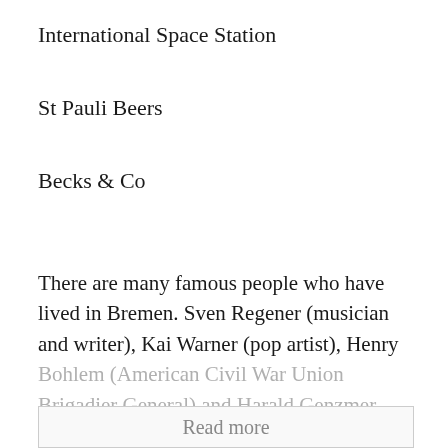International Space Station
St Pauli Beers
Becks & Co
There are many famous people who have lived in Bremen. Sven Regener (musician and writer), Kai Warner (pop artist), Henry Bohlem (American Civil War Union Brigadier General) and Harold Genzmer (composer of
Read more